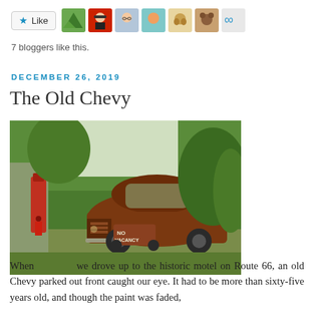[Figure (other): Like button with star icon and row of 7 blogger avatars]
7 bloggers like this.
DECEMBER 26, 2019
The Old Chevy
[Figure (photo): A rusted old Chevrolet car parked in front of a historic Route 66 motel, with a 'No Vacancy' sign visible in front, surrounded by lush green trees and a vintage red gas pump on the left.]
When we drove up to the historic motel on Route 66, an old Chevy parked out front caught our eye. It had to be more than sixty-five years old, and though the paint was faded,